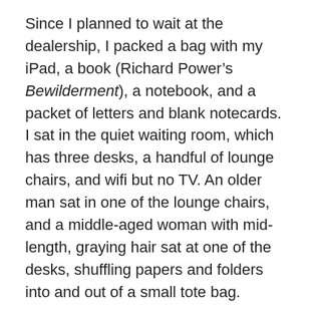Since I planned to wait at the dealership, I packed a bag with my iPad, a book (Richard Power's Bewilderment), a notebook, and a packet of letters and blank notecards. I sat in the quiet waiting room, which has three desks, a handful of lounge chairs, and wifi but no TV. An older man sat in one of the lounge chairs, and a middle-aged woman with mid-length, graying hair sat at one of the desks, shuffling papers and folders into and out of a small tote bag.
As I claimed a lounge chair in the corner, I chuckled to myself. “That’s me without glasses,” I said to myself, remembering the ongoing joke J and I have about the stereotypical Subaru owner: middle-aged and female, possibly lesbian or at least tomboyish, with sensible shoes, no makeup, and at least one dog. The anonymous